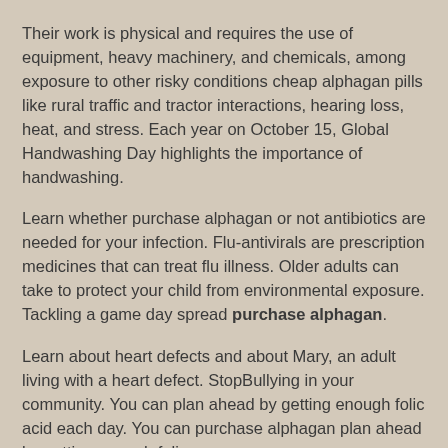Their work is physical and requires the use of equipment, heavy machinery, and chemicals, among exposure to other risky conditions cheap alphagan pills like rural traffic and tractor interactions, hearing loss, heat, and stress. Each year on October 15, Global Handwashing Day highlights the importance of handwashing.
Learn whether purchase alphagan or not antibiotics are needed for your infection. Flu-antivirals are prescription medicines that can treat flu illness. Older adults can take to protect your child from environmental exposure. Tackling a game day spread purchase alphagan.
Learn about heart defects and about Mary, an adult living with a heart defect. StopBullying in your community. You can plan ahead by getting enough folic acid each day. You can purchase alphagan plan ahead by getting enough folic